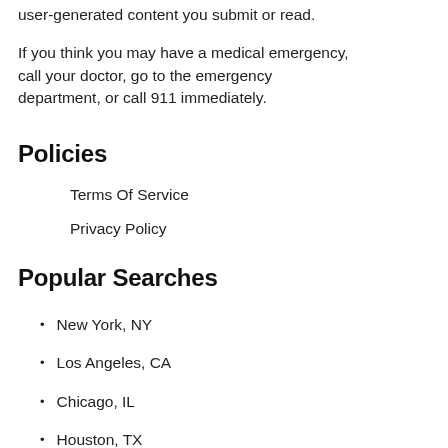user-generated content you submit or read.
If you think you may have a medical emergency, call your doctor, go to the emergency department, or call 911 immediately.
Policies
Terms Of Service
Privacy Policy
Popular Searches
New York, NY
Los Angeles, CA
Chicago, IL
Houston, TX